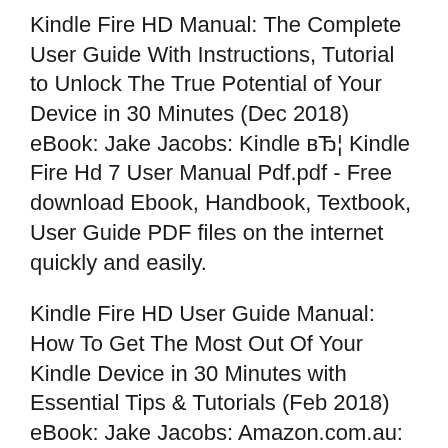Kindle Fire HD Manual: The Complete User Guide With Instructions, Tutorial to Unlock The True Potential of Your Device in 30 Minutes (Dec 2018) eBook: Jake Jacobs: Kindle вЂ¦ Kindle Fire Hd 7 User Manual Pdf.pdf - Free download Ebook, Handbook, Textbook, User Guide PDF files on the internet quickly and easily.
Kindle Fire HD User Guide Manual: How To Get The Most Out Of Your Kindle Device in 30 Minutes with Essential Tips & Tutorials (Feb 2018) eBook: Jake Jacobs: Amazon.com.au: Kindle Store Kindle Fire HD User Guide Manual: How To Get The Most Out Of Your Kindle Device in 30 Minutes with Essential Tips & Tutorials (Feb 2018): Jake Jacobs...